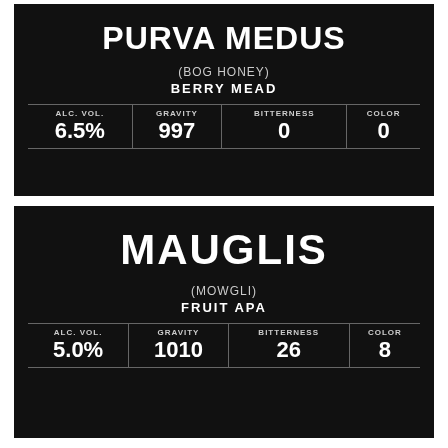PURVA MEDUS
(BOG HONEY)
BERRY MEAD
| ALC. VOL. | GRAVITY | BITTERNESS | COLOR |
| --- | --- | --- | --- |
| 6.5% | 997 | 0 | 0 |
MAUGLIS
(MOWGLI)
FRUIT APA
| ALC. VOL. | GRAVITY | BITTERNESS | COLOR |
| --- | --- | --- | --- |
| 5.0% | 1010 | 26 | 8 |